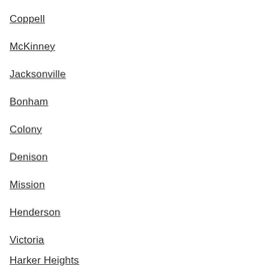Coppell
McKinney
Jacksonville
Bonham
Colony
Denison
Mission
Henderson
Victoria
Harker Heights